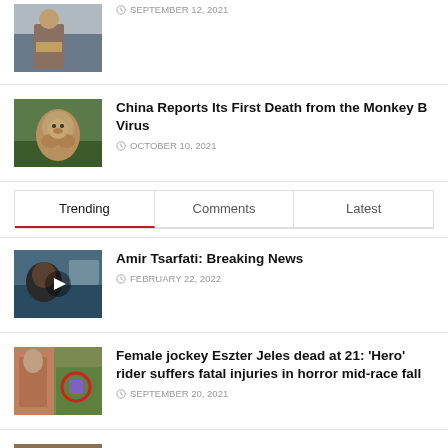[Figure (photo): Partial thumbnail of person sitting near water]
SEPTEMBER 12, 2021
[Figure (photo): Monkey sitting on ground outdoors]
China Reports Its First Death from the Monkey B Virus
OCTOBER 10, 2021
Trending | Comments | Latest
[Figure (photo): Person with play button overlay - Amir Tsarfati Breaking News thumbnail]
Amir Tsarfati: Breaking News
FEBRUARY 22, 2022
[Figure (photo): Female jockey with red circle highlighting incident]
Female jockey Eszter Jeles dead at 21: 'Hero' rider suffers fatal injuries in horror mid-race fall
SEPTEMBER 20, 2021
[Figure (photo): People sitting around a dining table]
What Awkwafina told Shang-Chi co-star Dallas Liu that he'll never forget
SEPTEMBER 1, 2021